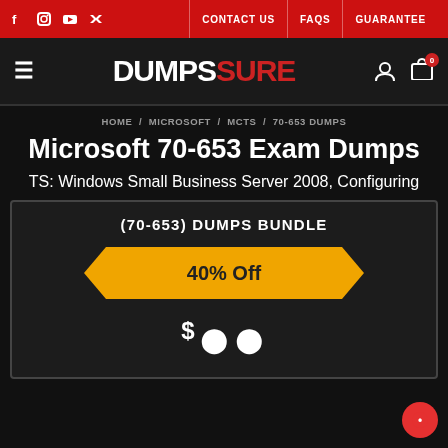CONTACT US  FAQS  GUARANTEE
[Figure (logo): DumpsSure website logo with hamburger menu, user icon, and cart icon with badge 0]
HOME / MICROSOFT / MCTS / 70-653 DUMPS
Microsoft 70-653 Exam Dumps
TS: Windows Small Business Server 2008, Configuring
(70-653) DUMPS BUNDLE
[Figure (infographic): Orange ribbon banner showing 40% Off discount]
$ (large price number partially cut off)